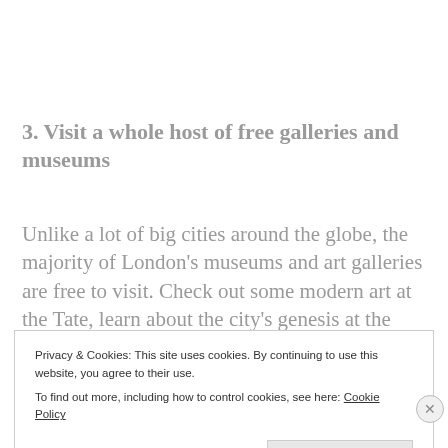3. Visit a whole host of free galleries and museums
Unlike a lot of big cities around the globe, the majority of London's museums and art galleries are free to visit. Check out some modern art at the Tate, learn about the city's genesis at the Museum
Privacy & Cookies: This site uses cookies. By continuing to use this website, you agree to their use.
To find out more, including how to control cookies, see here: Cookie Policy
Close and accept